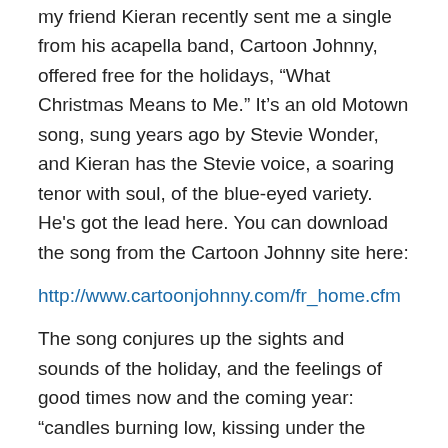my friend Kieran recently sent me a single from his acapella band, Cartoon Johnny, offered free for the holidays, "What Christmas Means to Me." It's an old Motown song, sung years ago by Stevie Wonder, and Kieran has the Stevie voice, a soaring tenor with soul, of the blue-eyed variety. He's got the lead here. You can download the song from the Cartoon Johnny site here:
http://www.cartoonjohnny.com/fr_home.cfm
The song conjures up the sights and sounds of the holiday, and the feelings of good times now and the coming year: “candles burning low, kissing under the mistletoe, snow and ice, choirs singing carols …” all the ambient goodies that make Christmas a romantic season for young and old.
I've had mixed emotions about the holiday over the years,